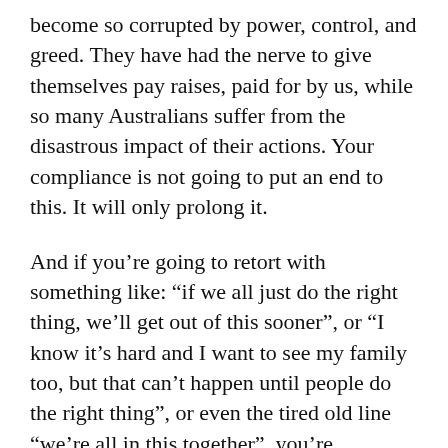become so corrupted by power, control, and greed. They have had the nerve to give themselves pay raises, paid for by us, while so many Australians suffer from the disastrous impact of their actions. Your compliance is not going to put an end to this. It will only prolong it.
And if you’re going to retort with something like: “if we all just do the right thing, we’ll get out of this sooner”, or “I know it’s hard and I want to see my family too, but that can’t happen until people do the right thing”, or even the tired old line “we’re all in this together”, you’re tragically incorrect. We have seen that complying only encourages those in power to continue down the